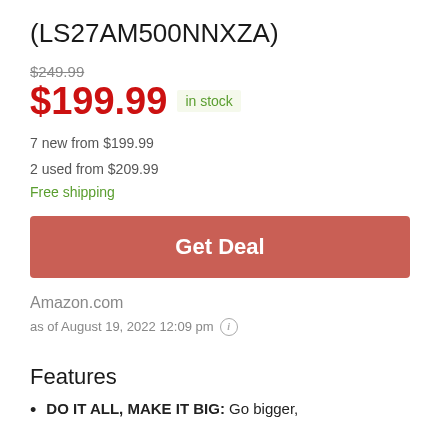(LS27AM500NNXZA)
$249.99
$199.99 in stock
7 new from $199.99
2 used from $209.99
Free shipping
Get Deal
Amazon.com
as of August 19, 2022 12:09 pm
Features
DO IT ALL, MAKE IT BIG: Go bigger,